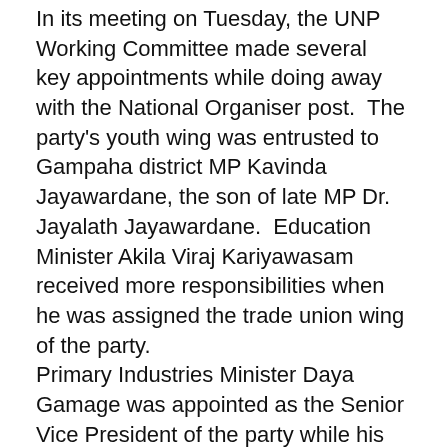In its meeting on Tuesday, the UNP Working Committee made several   key appointments while doing away with the National Organiser post.  The party's youth wing was entrusted to Gampaha district MP Kavinda Jayawardane, the son of late MP Dr. Jayalath Jayawardane.  Education Minister Akila Viraj Kariyawasam received more responsibilities when he was assigned the trade union wing of the party.
Primary Industries Minister Daya Gamage was appointed as the Senior Vice President of the party while his spouse Deputy Minister Anoma Gamage was assigned the women's wing called Lak Wanitha Peramuna.
The media anticipated the UNP doing away with the posts of Deputy Leader and Assistant Leader. But, it did not happen.   A section of the party held the view these two posts were created under times of duress and that there was no necessity keep them and that they should  be